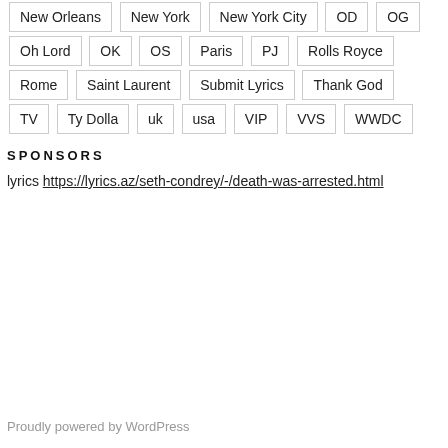New Orleans
New York
New York City
OD
OG
Oh Lord
OK
OS
Paris
PJ
Rolls Royce
Rome
Saint Laurent
Submit Lyrics
Thank God
TV
Ty Dolla
uk
usa
VIP
VVS
WWDC
SPONSORS
lyrics https://lyrics.az/seth-condrey/-/death-was-arrested.html
Proudly powered by WordPress